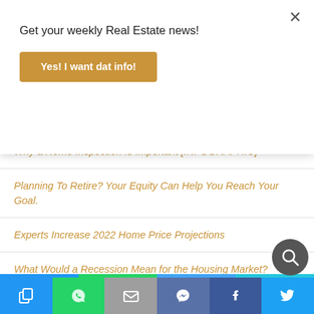Get your weekly Real Estate news!
Yes! I want dat info!
Recent Posts
Why a Home Inspection Is Important [INFOGRAPHIC]
Planning To Retire? Your Equity Can Help You Reach Your Goal.
Experts Increase 2022 Home Price Projections
What Would a Recession Mean for the Housing Market?